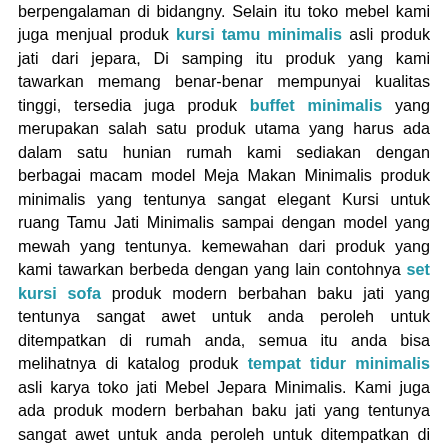berpengalaman di bidangny. Selain itu toko mebel kami juga menjual produk kursi tamu minimalis asli produk jati dari jepara, Di samping itu produk yang kami tawarkan memang benar-benar mempunyai kualitas tinggi, tersedia juga produk buffet minimalis yang merupakan salah satu produk utama yang harus ada dalam satu hunian rumah kami sediakan dengan berbagai macam model Meja Makan Minimalis produk minimalis yang tentunya sangat elegant Kursi untuk ruang Tamu Jati Minimalis sampai dengan model yang mewah yang tentunya. kemewahan dari produk yang kami tawarkan berbeda dengan yang lain contohnya set kursi sofa produk modern berbahan baku jati yang tentunya sangat awet untuk anda peroleh untuk ditempatkan di rumah anda, semua itu anda bisa melihatnya di katalog produk tempat tidur minimalis asli karya toko jati Mebel Jepara Minimalis. Kami juga ada produk modern berbahan baku jati yang tentunya sangat awet untuk anda peroleh untuk ditempatkan di rumah anda, semua itu anda bisa melihatnya di katalog produk mebel jati dan untuk semua produk yang kami koleksi nantinya produk tersebut akan kami tawarkan sesuai dengan harga mebel tempat tidur. Anda jangan khawatir karena produk